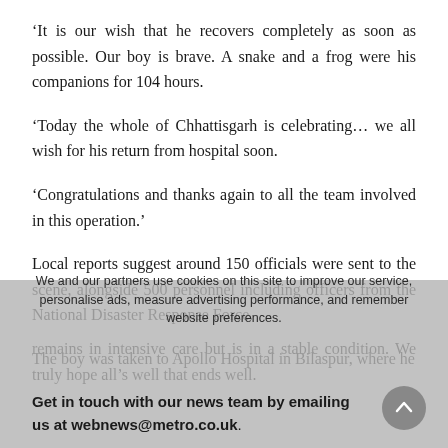‘It is our wish that he recovers completely as soon as possible. Our boy is brave. A snake and a frog were his companions for 104 hours.
‘Today the whole of Chhattisgarh is celebrating… we all wish for his return from hospital soon.
‘Congratulations and thanks again to all the team involved in this operation.’
Local reports suggest around 150 officials were sent to the scene, alongside 500 personnel including officers from the National Disaster Response Force.
The boy was taken to Apollo Hospital in Bilaspur, where he remains in intensive care but is in a stable condition. We truly hope all’s well that ends well.
We and our partners use cookies on this site to improve our service, personalise ads, measure advertising performance, and remember website preferences.
Get in touch with our news team by emailing us at webnews@metro.co.uk.